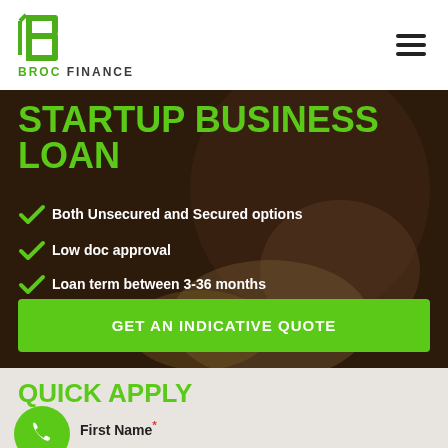[Figure (logo): Broc Finance logo with green B icon and text BROC FINANCE]
STARTUP BUSINESS LOAN
Both Unsecured and Secured options
Low doc approval
Loan term between 3-36 months
Quick and hassle-free funding
GET AN INDICATIVE QUOTE
QUICK APPLY
First Name *